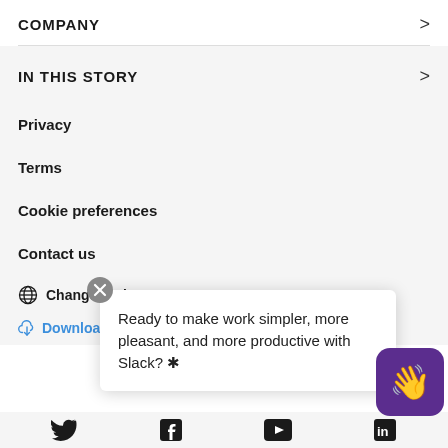COMPANY
IN THIS STORY
Privacy
Terms
Cookie preferences
Contact us
Change region
Download S
Ready to make work simpler, more pleasant, and more productive with Slack? ✳
[Figure (screenshot): Screenshot of Slack website navigation footer showing links for COMPANY, IN THIS STORY, Privacy, Terms, Cookie preferences, Contact us, Change region, Download Slack, and social media icons. A popup reads 'Ready to make work simpler, more pleasant, and more productive with Slack?'. A purple Slack button with wave emoji is in the lower right.]